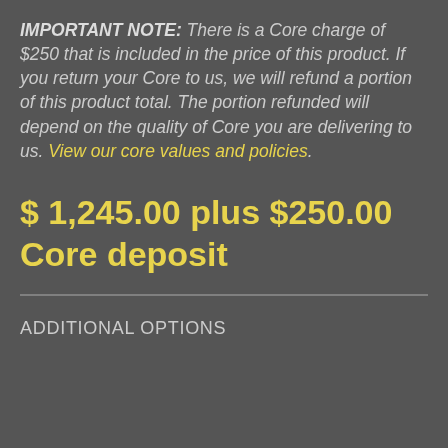IMPORTANT NOTE: There is a Core charge of $250 that is included in the price of this product. If you return your Core to us, we will refund a portion of this product total. The portion refunded will depend on the quality of Core you are delivering to us. View our core values and policies.
$ 1,245.00 plus $250.00 Core deposit
ADDITIONAL OPTIONS